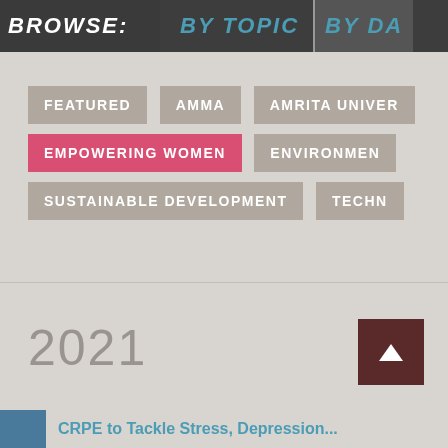BROWSE: BY TOPIC BY DA
FEATURED
AMMA
AMRITA UNIVER
EMPOWERING WOMEN
ENVIRONMEN
SUSTAINABLE DEVELOPMENT
TECHN
2021
CRPE to Tackle Stress, Depression...